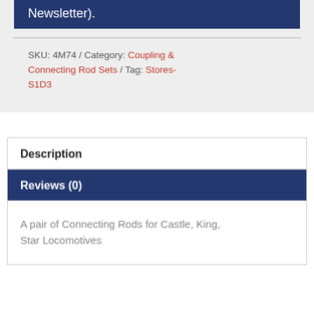Newsletter).
SKU: 4M74 / Category: Coupling & Connecting Rod Sets / Tag: Stores-S1D3
Description
Reviews (0)
A pair of Connecting Rods for Castle, King, Star Locomotives